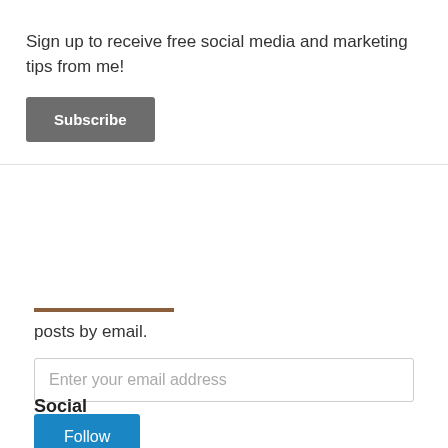×
Sign up to receive free social media and marketing tips from me!
Subscribe
posts by email.
Enter your email address
Follow
Join 1,378 other followers
Social